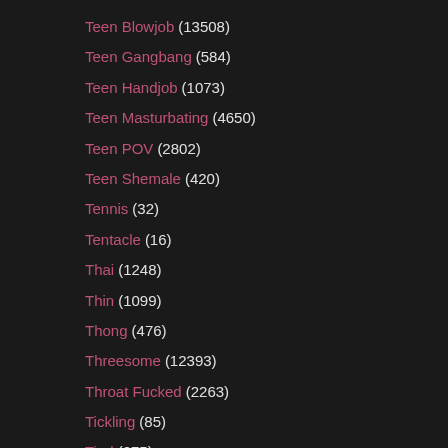Teen Blowjob (13508)
Teen Gangbang (584)
Teen Handjob (1073)
Teen Masturbating (4650)
Teen POV (2802)
Teen Shemale (420)
Tennis (32)
Tentacle (16)
Thai (1248)
Thin (1099)
Thong (476)
Threesome (12393)
Throat Fucked (2263)
Tickling (85)
Tied (675)
Tight (2000+)